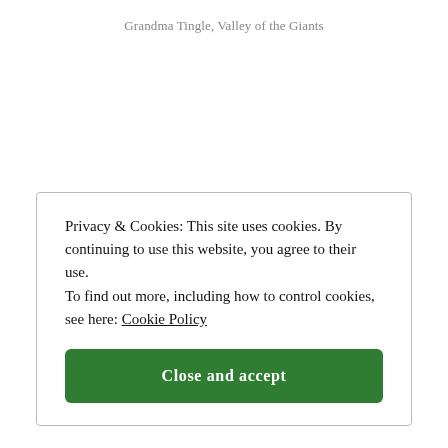Grandma Tingle, Valley of the Giants
Privacy & Cookies: This site uses cookies. By continuing to use this website, you agree to their use.
To find out more, including how to control cookies, see here: Cookie Policy
Close and accept